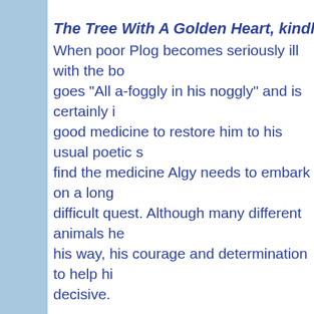The Tree With A Golden Heart, kindle ebook [text truncated at right edge]
When poor Plog becomes seriously ill with the bo[truncated] goes "All a-foggly in his noggly" and is certainly i[truncated] good medicine to restore him to his usual poetic s[truncated] find the medicine Algy needs to embark on a long[truncated] difficult quest. Although many different animals h[truncated] his way, his courage and determination to help hi[truncated] decisive.

Every stage of his journey is described beautifully[truncated] believably. Matters don't always go smoothly, but[truncated] (with some unexpected help) finally succeeds in [truncated] the precious ingredients for Plog's medicine hom[truncated] We learn about many of the characters in Algy's [truncated] They each have foibles but unite in their efforts to[truncated] about a happy conclusion. Heart warming.

Algy's assistant Jenny adds some lovely illustrati[truncated]